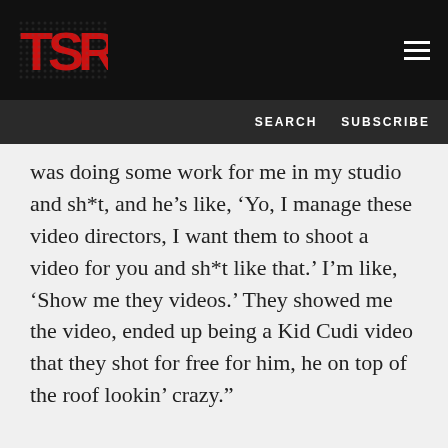TSR
SEARCH   SUBSCRIBE
was doing some work for me in my studio and sh*t, and he’s like, ‘Yo, I manage these video directors, I want them to shoot a video for you and sh*t like that.’ I’m like, ‘Show me they videos.’ They showed me the video, ended up being a Kid Cudi video that they shot for free for him, he on top of the roof lookin’ crazy.”